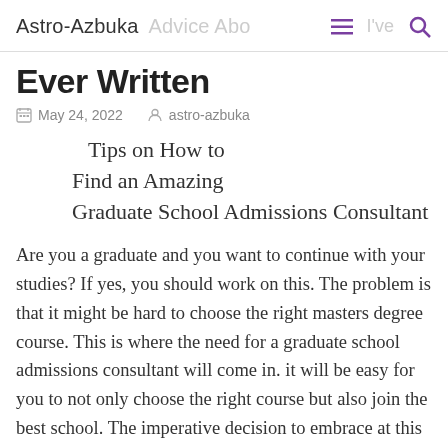Astro-Azbuka  Advice Abo  I've
Ever Written
May 24, 2022   astro-azbuka
Tips on How to Find an Amazing Graduate School Admissions Consultant
Are you a graduate and you want to continue with your studies? If yes, you should work on this. The problem is that it might be hard to choose the right masters degree course. This is where the need for a graduate school admissions consultant will come in. it will be easy for you to not only choose the right course but also join the best school. The imperative decision to embrace at this point is